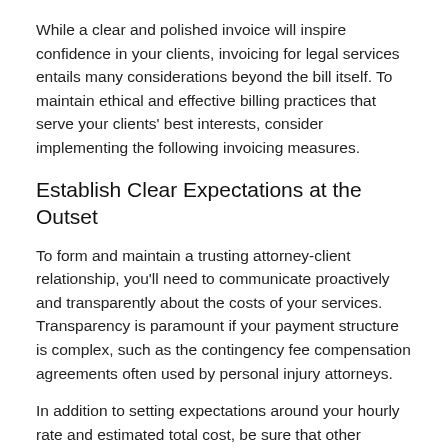While a clear and polished invoice will inspire confidence in your clients, invoicing for legal services entails many considerations beyond the bill itself. To maintain ethical and effective billing practices that serve your clients' best interests, consider implementing the following invoicing measures.
Establish Clear Expectations at the Outset
To form and maintain a trusting attorney-client relationship, you'll need to communicate proactively and transparently about the costs of your services. Transparency is paramount if your payment structure is complex, such as the contingency fee compensation agreements often used by personal injury attorneys.
In addition to setting expectations around your hourly rate and estimated total cost, be sure that other invoicing details are equally clear. For example, explain what constitutes "billable time," what would happen if they miss the due date and make a late